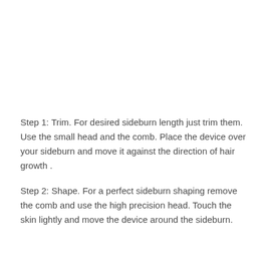Step 1: Trim. For desired sideburn length just trim them. Use the small head and the comb. Place the device over your sideburn and move it against the direction of hair growth .
Step 2: Shape. For a perfect sideburn shaping remove the comb and use the high precision head. Touch the skin lightly and move the device around the sideburn.